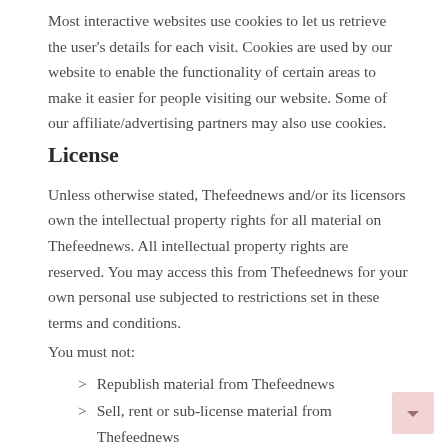Most interactive websites use cookies to let us retrieve the user's details for each visit. Cookies are used by our website to enable the functionality of certain areas to make it easier for people visiting our website. Some of our affiliate/advertising partners may also use cookies.
License
Unless otherwise stated, Thefeednews and/or its licensors own the intellectual property rights for all material on Thefeednews. All intellectual property rights are reserved. You may access this from Thefeednews for your own personal use subjected to restrictions set in these terms and conditions.
You must not:
Republish material from Thefeednews
Sell, rent or sub-license material from Thefeednews
Reproduce, duplicate or copy material from Thefeednews
Redistribute content from Thefeednews
This Agreement shall begin on the date hereof.
Parts of this website offer an opportunity for users to post and